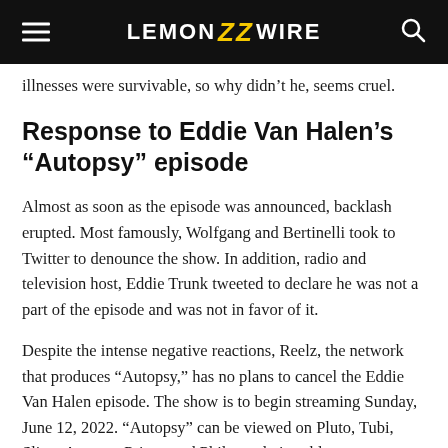LEMON ZZ WIRE
illnesses were survivable, so why didn’t he, seems cruel.
Response to Eddie Van Halen’s “Autopsy” episode
Almost as soon as the episode was announced, backlash erupted. Most famously, Wolfgang and Bertinelli took to Twitter to denounce the show. In addition, radio and television host, Eddie Trunk tweeted to declare he was not a part of the episode and was not in favor of it.
Despite the intense negative reactions, Reelz, the network that produces “Autopsy,” has no plans to cancel the Eddie Van Halen episode. The show is to begin streaming Sunday, June 12, 2022. “Autopsy” can be viewed on Pluto, Tubi, Sling, Amazon Prime, and Philo, and via cable